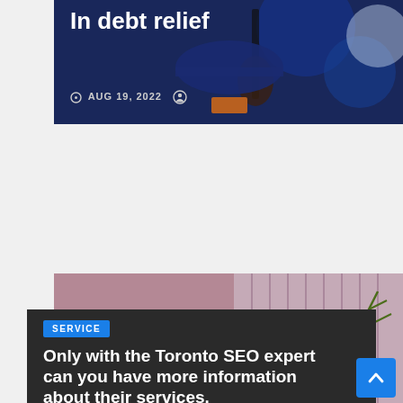[Figure (photo): Partial blog card with dark blue/purple abstract background showing debt relief article title and date]
In debt relief
AUG 19, 2022
[Figure (photo): Blog card with pink/mauve home textile background showing a bedroom with floral bedding and a vase with red rose]
GENERAL
Why should you buy Home Textile products online?
AUG 19, 2022
[Figure (photo): Blog card with dark/charcoal background for Toronto SEO expert article]
SERVICE
Only with the Toronto SEO expert can you have more information about their services.